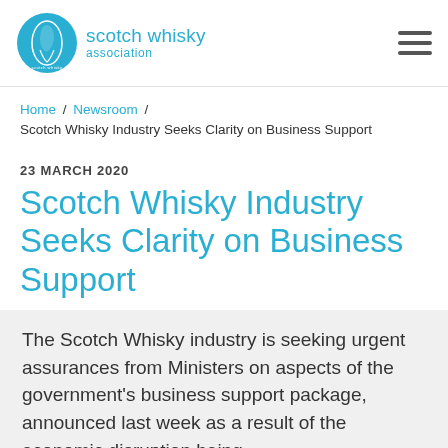scotch whisky association
Home / Newsroom / Scotch Whisky Industry Seeks Clarity on Business Support
23 MARCH 2020
Scotch Whisky Industry Seeks Clarity on Business Support
The Scotch Whisky industry is seeking urgent assurances from Ministers on aspects of the government's business support package, announced last week as a result of the economic disruption being